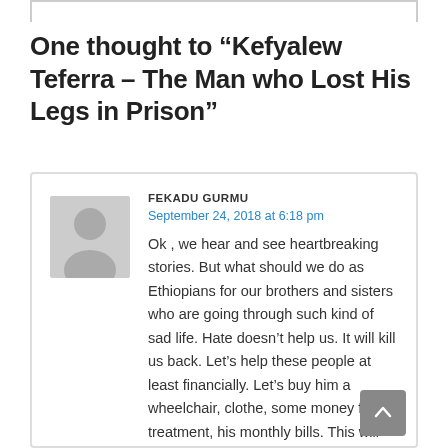One thought to “Kefyalew Teferra – The Man who Lost His Legs in Prison”
[Figure (illustration): User avatar placeholder: grey silhouette of a person on grey background]
FEKADU GURMU
September 24, 2018 at 6:18 pm
Ok , we hear and see heartbreaking stories. But what should we do as Ethiopians for our brothers and sisters who are going through such kind of sad life. Hate doesn’t help us. It will kill us back. Let’s help these people at least financially. Let’s buy him a wheelchair, clothe, some money for his treatment, his monthly bills. This will make his life easy. Tomorrow is another day fot him too. Let’s open a/c for him . Let’s stop crying and help.